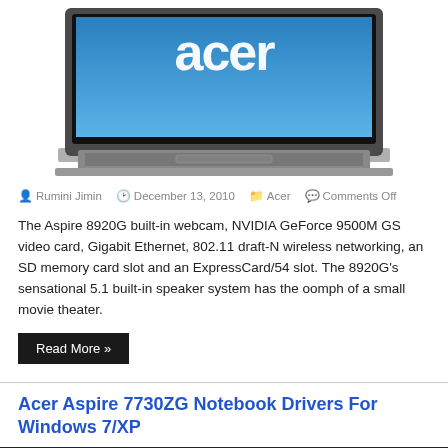[Figure (photo): Acer laptop with blue Acer logo on screen, silver body, viewed from slightly above front angle]
Rumini Jimin  December 13, 2010  Acer  Comments Off
The Aspire 8920G built-in webcam, NVIDIA GeForce 9500M GS video card, Gigabit Ethernet, 802.11 draft-N wireless networking, an SD memory card slot and an ExpressCard/54 slot. The 8920G's sensational 5.1 built-in speaker system has the oomph of a small movie theater.
Read More »
Acer Aspire 7730ZG Notebook Drivers For Windows 7/XP
[Figure (photo): Bottom strip of next article image, dark/black bar]